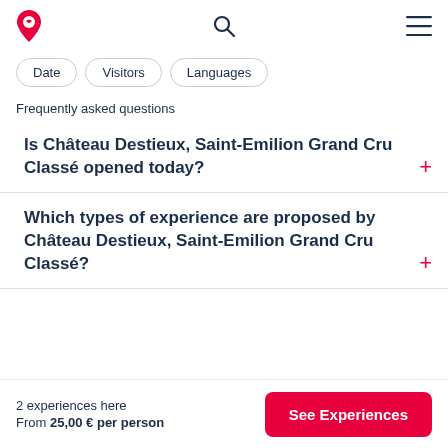[Figure (logo): Red wine glass / map pin logo icon]
[Figure (other): Search magnifying glass icon]
[Figure (other): Hamburger menu icon (three horizontal lines)]
Date
Visitors
Languages
Frequently asked questions
Is Château Destieux, Saint-Emilion Grand Cru Classé opened today?
Which types of experience are proposed by Château Destieux, Saint-Emilion Grand Cru Classé?
2 experiences here
From 25,00 € per person
See Experiences